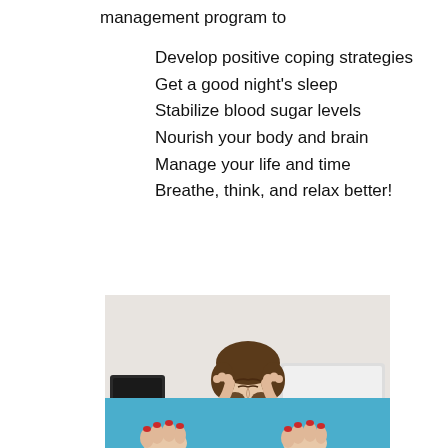management program to
Develop positive coping strategies
Get a good night’s sleep
Stabilize blood sugar levels
Nourish your body and brain
Manage your life and time
Breathe, think, and relax better!
[Figure (photo): Woman sitting at a desk with a laptop, holding her head in her hands in a stressed pose]
[Figure (photo): Bottom portion of another image with blue background, partially visible]